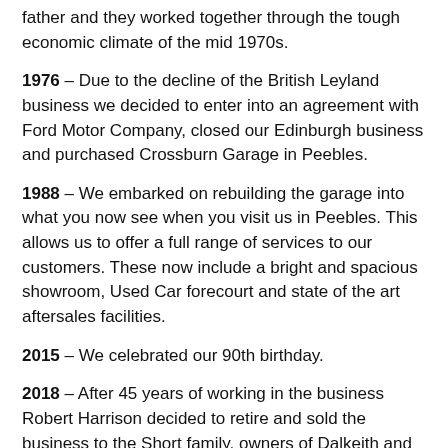father and they worked together through the tough economic climate of the mid 1970s.
1976 – Due to the decline of the British Leyland business we decided to enter into an agreement with Ford Motor Company, closed our Edinburgh business and purchased Crossburn Garage in Peebles.
1988 – We embarked on rebuilding the garage into what you now see when you visit us in Peebles. This allows us to offer a full range of services to our customers. These now include a bright and spacious showroom, Used Car forecourt and state of the art aftersales facilities.
2015 – We celebrated our 90th birthday.
2018 – After 45 years of working in the business Robert Harrison decided to retire and sold the business to the Short family, owners of Dalkeith and Cupar Ford Centres.